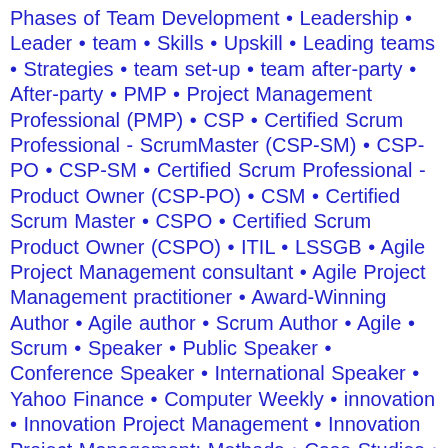Phases of Team Development • Leadership • Leader • team • Skills • Upskill • Leading teams • Strategies • team set-up • team after-party • After-party • PMP • Project Management Professional (PMP) • CSP • Certified Scrum Professional - ScrumMaster (CSP-SM) • CSP-PO • CSP-SM • Certified Scrum Professional - Product Owner (CSP-PO) • CSM • Certified Scrum Master • CSPO • Certified Scrum Product Owner (CSPO) • ITIL • LSSGB • Agile Project Management consultant • Agile Project Management practitioner • Award-Winning Author • Agile author • Scrum Author • Agile • Scrum • Speaker • Public Speaker • Conference Speaker • International Speaker • Yahoo Finance • Computer Weekly • innovation • Innovation Project Management • Innovation Project Management: Methods • Case Studies • and Tools for Managing Innovation Projects • Mobile App Daily • MobileAppDaily • Gartner • Cisco • RSA • Ford • Qantas • Atlassian • BAYER • United States Department of Energy • USDOE • Tufts University • James Madison University • Santa Clara University •